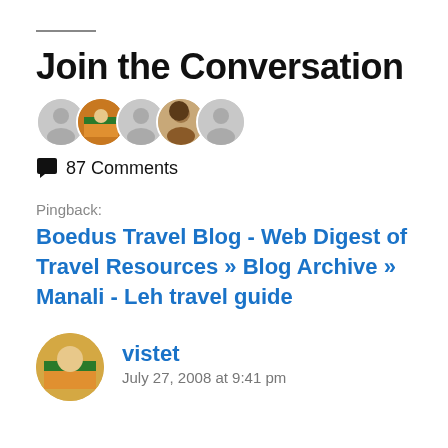Join the Conversation
[Figure (illustration): Row of overlapping circular user avatar icons: generic gray silhouettes and two photo avatars (one with orange/flag imagery, one with a man's photo)]
87 Comments
Pingback:
Boedus Travel Blog - Web Digest of Travel Resources » Blog Archive » Manali - Leh travel guide
vistet
July 27, 2008 at 9:41 pm